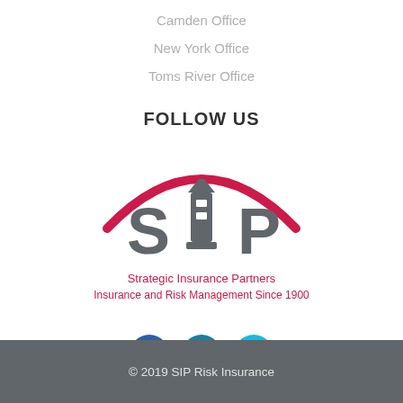Camden Office
New York Office
Toms River Office
FOLLOW US
[Figure (logo): SIP Strategic Insurance Partners logo with red arc, lighthouse icon, and text 'Strategic Insurance Partners Insurance and Risk Management Since 1900']
[Figure (infographic): Three social media icons: Facebook (dark blue), LinkedIn (teal blue), Twitter (light blue)]
© 2019 SIP Risk Insurance